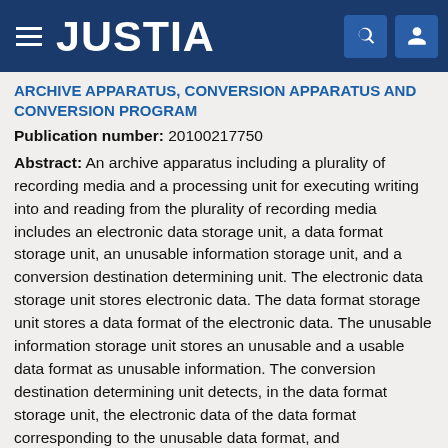JUSTIA
ARCHIVE APPARATUS, CONVERSION APPARATUS AND CONVERSION PROGRAM
Publication number: 20100217750
Abstract: An archive apparatus including a plurality of recording media and a processing unit for executing writing into and reading from the plurality of recording media includes an electronic data storage unit, a data format storage unit, an unusable information storage unit, and a conversion destination determining unit. The electronic data storage unit stores electronic data. The data format storage unit stores a data format of the electronic data. The unusable information storage unit stores an unusable and a usable data format as unusable information. The conversion destination determining unit detects, in the data format storage unit, the electronic data of the data format corresponding to the unusable data format, and determines a conversion destination of the converted data.